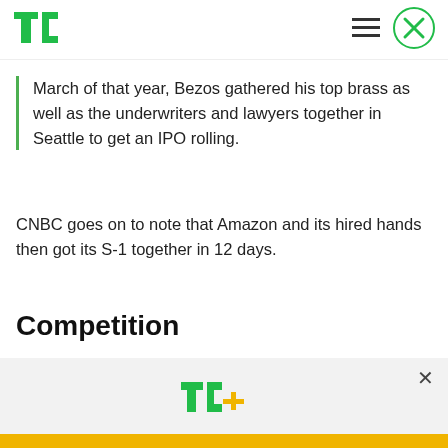TechCrunch header with logo and navigation
March of that year, Bezos gathered his top brass as well as the underwriters and lawyers together in Seattle to get an IPO rolling.
CNBC goes on to note that Amazon and its hired hands then got its S-1 together in 12 days.
Competition
[Figure (other): TechCrunch+ subscription modal overlay with TC+ logo, headline 'Celebrate Labor Day: Subscribe TechCrunch+ Today Only for $90/Year.' and a 'GET OFFER NOW' button]